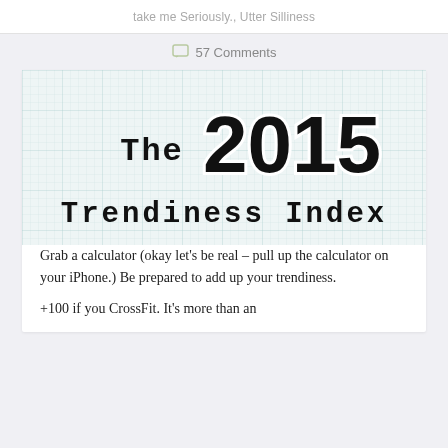take me Seriously., Utter Silliness
57 Comments
[Figure (illustration): The 2015 Trendiness Index title graphic on a light blue grid/graph paper background with large bold numerals '2015' and monospace-style text 'The' and 'Trendiness Index']
Grab a calculator (okay let’s be real – pull up the calculator on your iPhone.) Be prepared to add up your trendiness.
+100 if you CrossFit. It’s more than an